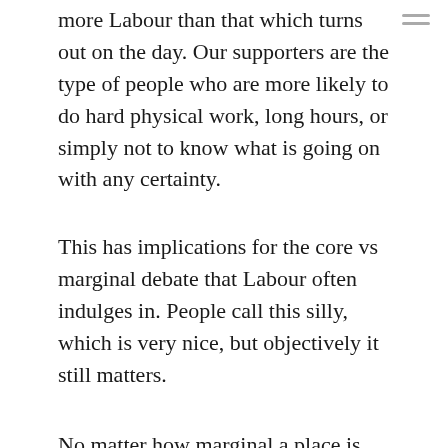more Labour than that which turns out on the day. Our supporters are the type of people who are more likely to do hard physical work, long hours, or simply not to know what is going on with any certainty.
This has implications for the core vs marginal debate that Labour often indulges in. People call this silly, which is very nice, but objectively it still matters.
No matter how marginal a place is, you still need a core to make up a majority of the vote you do get. What we need more than anything is to be widely perceived as a party which inspires these people. Even with the Con-Dem government in place, we still need a positive vision, image, articulation and